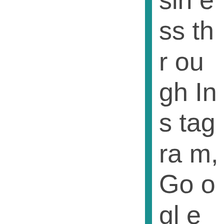business through Instagram, Google Ads, or Mic